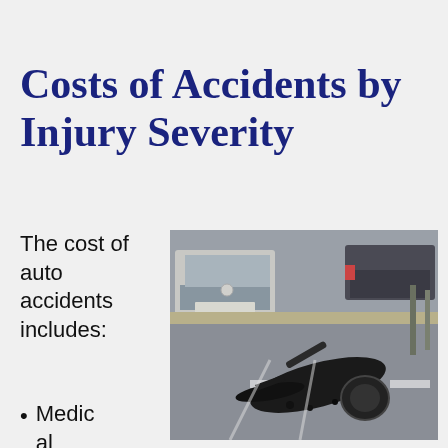Costs of Accidents by Injury Severity
The cost of auto accidents includes:
[Figure (photo): A crashed motorcycle lying on a road, with cars in the background]
Medical expenses